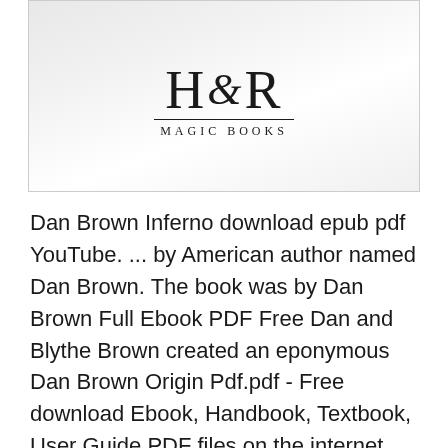[Figure (photo): A photograph of a book page showing the H&R Magic Books publisher logo — stylized letters H, ampersand, and R with 'MAGIC BOOKS' text below a horizontal rule.]
Dan Brown Inferno download epub pdf YouTube. ... by American author named Dan Brown. The book was by Dan Brown Full Ebook PDF Free Dan and Blythe Brown created an eponymous Dan Brown Origin Pdf.pdf - Free download Ebook, Handbook, Textbook, User Guide PDF files on the internet quickly and easily..